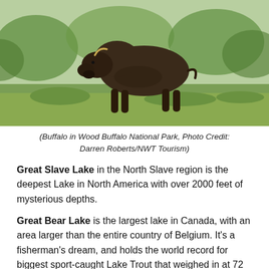[Figure (photo): A bison walking through green grass and shrubs in Wood Buffalo National Park]
(Buffalo in Wood Buffalo National Park, Photo Credit: Darren Roberts/NWT Tourism)
Great Slave Lake in the North Slave region is the deepest Lake in North America with over 2000 feet of mysterious depths.
Great Bear Lake is the largest lake in Canada, with an area larger than the entire country of Belgium. It’s a fisherman’s dream, and holds the world record for biggest sport-caught Lake Trout that weighed in at 72